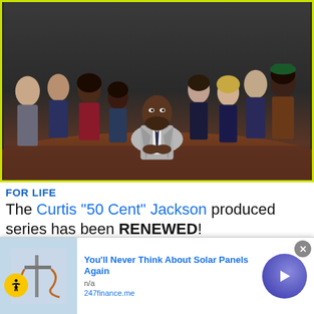[Figure (photo): Cast photo for the TV show 'For Life' — group of actors standing behind a man in a gray suit seated at a table]
FOR LIFE
The Curtis "50 Cent" Jackson produced series has been RENEWED!
Inspired by the real-life story of Isaac Wright Jr.,
[Figure (photo): Advertisement: You'll Never Think About Solar Panels Again — n/a — 247finance.me]